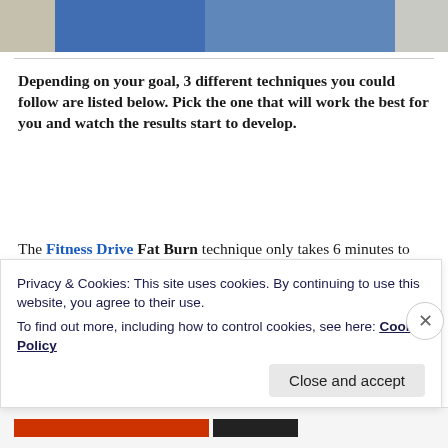[Figure (photo): Partial photo of a person in a blue top, fitness/exercise context, cropped at the top of the page]
Depending on your goal, 3 different techniques you could follow are listed below. Pick the one that will work the best for you and watch the results start to develop.
The Fitness Drive Fat Burn technique only takes 6 minutes to execute. It consists of fast motions with short rest periods to maintain a high caloric burn rate. This is a timed exercise and should be done using
Privacy & Cookies: This site uses cookies. By continuing to use this website, you agree to their use.
To find out more, including how to control cookies, see here: Cookie Policy
Close and accept